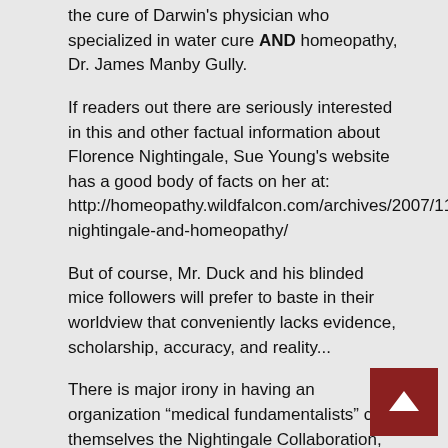the cure of Darwin's physician who specialized in water cure AND homeopathy, Dr. James Manby Gully.
If readers out there are seriously interested in this and other factual information about Florence Nightingale, Sue Young's website has a good body of facts on her at: http://homeopathy.wildfalcon.com/archives/2007/11/22/florence-nightingale-and-homeopathy/
But of course, Mr. Duck and his blinded mice followers will prefer to baste in their worldview that conveniently lacks evidence, scholarship, accuracy, and reality...
There is major irony in having an organization “medical fundamentalists” call themselves the Nightingale Collaboration, especially in the light of her appreciation of real healing, not orthodox medicine of that day (or any other day).
When you consider the connections that many of the “medical fundamentalists” have to Trotsky, perhaps the